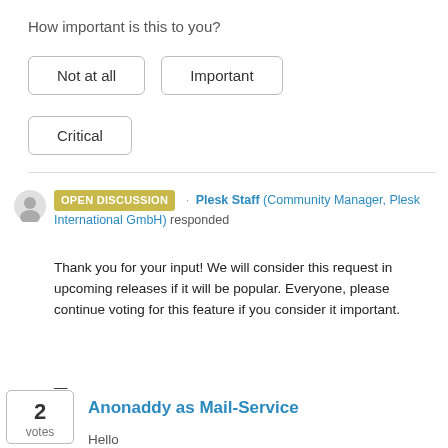How important is this to you?
Not at all
Important
Critical
OPEN DISCUSSION · Plesk Staff (Community Manager, Plesk International GmbH) responded
Thank you for your input! We will consider this request in upcoming releases if it will be popular. Everyone, please continue voting for this feature if you consider it important.

—
IG
2 votes
Anonaddy as Mail-Service
Hello